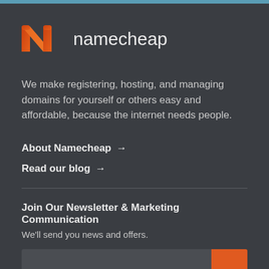[Figure (logo): Namecheap logo: orange N-shaped chevron icon followed by the text 'namecheap' in light gray]
We make registering, hosting, and managing domains for yourself or others easy and affordable, because the internet needs people.
About Namecheap →
Read our blog →
Join Our Newsletter & Marketing Communication
We'll send you news and offers.